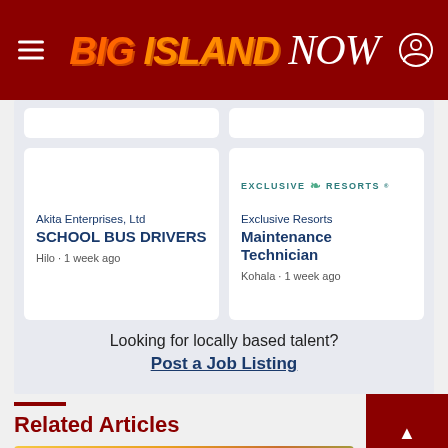Big Island NOW
[Figure (logo): Big Island NOW logo in orange/white italic text on dark red header bar]
[Figure (illustration): Partial white job listing cards (cropped top)]
Akita Enterprises, Ltd
SCHOOL BUS DRIVERS
Hilo · 1 week ago
[Figure (logo): Exclusive Resorts logo - teal text with leaf icon]
Exclusive Resorts
Maintenance Technician
Kohala · 1 week ago
Looking for locally based talent?
Post a Job Listing
Related Articles
[Figure (photo): Colorful outdoor photo thumbnail at bottom of page]